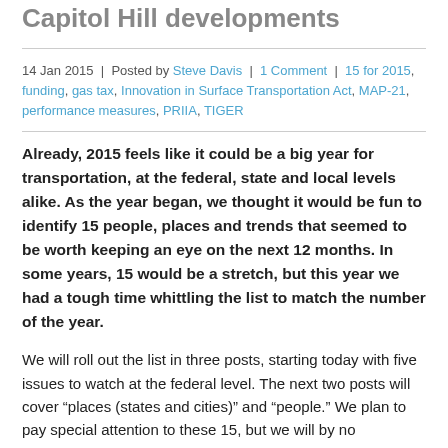Capitol Hill developments
14 Jan 2015  |  Posted by Steve Davis  |  1 Comment  |  15 for 2015, funding, gas tax, Innovation in Surface Transportation Act, MAP-21, performance measures, PRIIA, TIGER
Already, 2015 feels like it could be a big year for transportation, at the federal, state and local levels alike. As the year began, we thought it would be fun to identify 15 people, places and trends that seemed to be worth keeping an eye on the next 12 months. In some years, 15 would be a stretch, but this year we had a tough time whittling the list to match the number of the year.
We will roll out the list in three posts, starting today with five issues to watch at the federal level. The next two posts will cover “places (states and cities)” and “people.” We plan to pay special attention to these 15, but we will by no